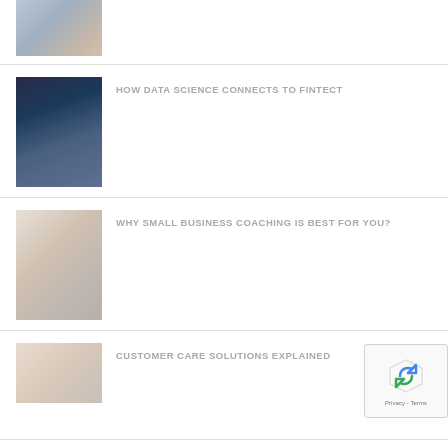[Figure (photo): Partial view of people in an office or business setting, cropped at top]
[Figure (photo): Person working at a computer with screens showing data/charts]
HOW DATA SCIENCE CONNECTS TO FINTECT
[Figure (photo): Woman writing at a desk with a laptop open beside her]
WHY SMALL BUSINESS COACHING IS BEST FOR YOU?
[Figure (photo): People in a cafe or meeting setting, partially visible]
CUSTOMER CARE SOLUTIONS EXPLAINED
[Figure (other): reCAPTCHA widget with privacy and terms links]